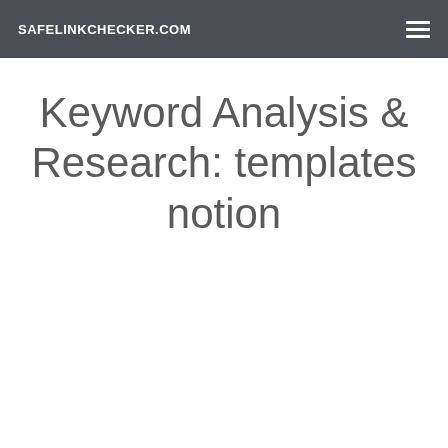SAFELINKCHECKER.COM
Keyword Analysis & Research: templates notion